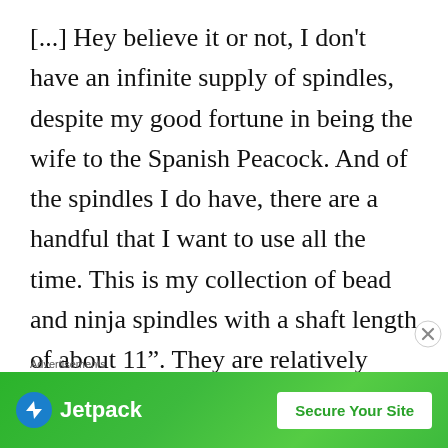[...] Hey believe it or not, I don't have an infinite supply of spindles, despite my good fortune in being the wife to the Spanish Peacock. And of the spindles I do have, there are a handful that I want to use all the time. This is my collection of bead and ninja spindles with a shaft length of about 11". They are relatively lightweight, so I can put a decent amount of fiber on them, and they are lightning fast. (If you want to learn
Advertisements
[Figure (screenshot): Jetpack advertisement banner with green background, Jetpack logo on left, and 'Secure Your Site' button on right]